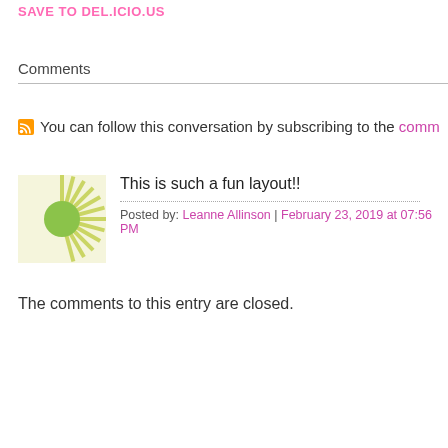SAVE TO DEL.ICIO.US
Comments
You can follow this conversation by subscribing to the comm
[Figure (illustration): Green sunburst / sun avatar image with radiating lines and a green circle center]
This is such a fun layout!!
Posted by: Leanne Allinson | February 23, 2019 at 07:56 PM
The comments to this entry are closed.